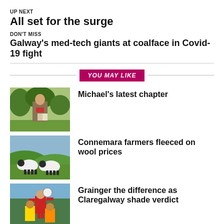UP NEXT
All set for the surge
DON'T MISS
Galway's med-tech giants at coalface in Covid-19 fight
YOU MAY LIKE
[Figure (photo): Older man in suit holding a book outdoors with greenery behind]
Michael's latest chapter
[Figure (photo): Two black-faced sheep standing in a green field]
Connemara farmers fleeced on wool prices
[Figure (photo): GAA football players competing in a match, player jumping for the ball]
Grainger the difference as Claregalway shade verdict